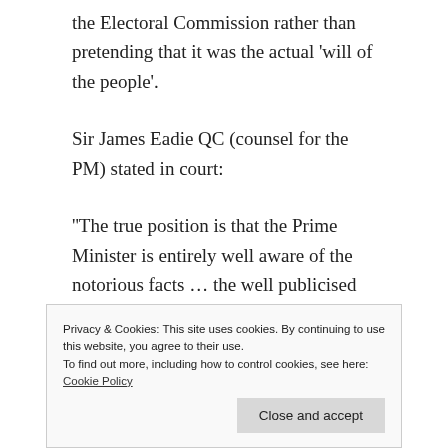the Electoral Commission rather than pretending that it was the actual 'will of the people'.
Sir James Eadie QC (counsel for the PM) stated in court:
''The true position is that the Prime Minister is entirely well aware of the notorious facts … the well publicised facts. The Electoral Commissions findings, the fact of an appeal, police investigations, ICO, the DCMS committees. All clear publicly done and properly done
Privacy & Cookies: This site uses cookies. By continuing to use this website, you agree to their use.
To find out more, including how to control cookies, see here: Cookie Policy